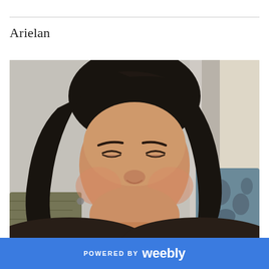Arielan
[Figure (photo): Close-up photo of a young woman with long dark hair smiling broadly, seated on a couch with patterned cushions, against a light-colored wall background.]
POWERED BY weebly